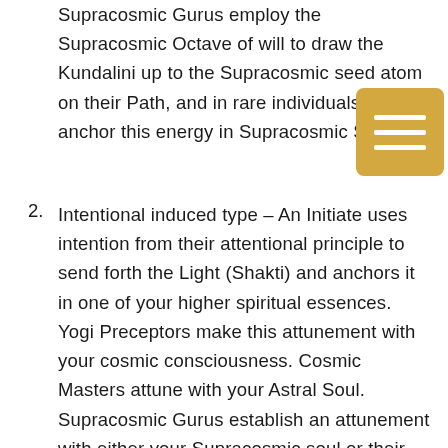Supracosmic Gurus employ the Supracosmic Octave of will to draw the Kundalini up to the Supracosmic seed atom on their Path, and in rare individuals, will anchor this energy in Supracosmic Soul.
2. Intentional induced type – An Initiate uses intention from their attentional principle to send forth the Light (Shakti) and anchors it in one of your higher spiritual essences. Yogi Preceptors make this attunement with your cosmic consciousness. Cosmic Masters attune with your Astral Soul. Supracosmic Gurus establish an attunement with either your Supracosmic...